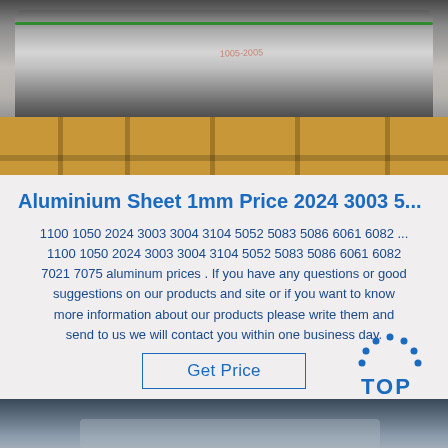[Figure (photo): Large aluminium coil/roll on wooden pallets in a warehouse or storage facility, showing silver metallic rolls with green stripe on top, resting on wooden support beams]
Aluminium Sheet 1mm Price 2024 3003 5...
1100 1050 2024 3003 3004 3104 5052 5083 5086 6061 6082 ... 1100 1050 2024 3003 3004 3104 5052 5083 5086 6061 6082 7021 7075 aluminum prices . If you have any questions or good suggestions on our products and site or if you want to know more information about our products please write them and send to us we will contact you within one business day.
[Figure (logo): TOP logo — circular dotted arc above the word TOP in blue]
[Figure (photo): Bottom portion of another aluminium sheet or coil product image, showing metallic surface in blue-grey tones]